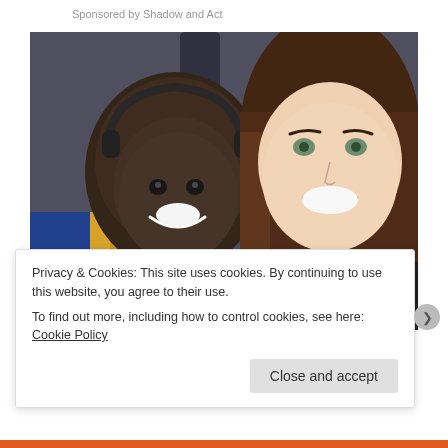Sponsored by Shadow and Act
[Figure (photo): Selfie photo of two smiling people: on the left, a young person with dark skin wearing headphones and a blue and yellow jersey; on the right, a young woman with light skin and long brown hair.]
Privacy & Cookies: This site uses cookies. By continuing to use this website, you agree to their use.
To find out more, including how to control cookies, see here: Cookie Policy
Close and accept